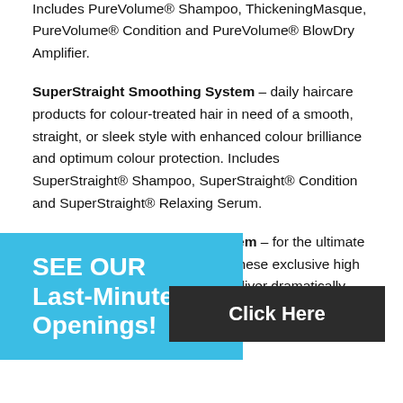colour-treated hair in need of moisture, volume, enhanced colour brilliance and colour protection. Includes PureVolume® Shampoo, ThickeningMasque, PureVolume® Condition and PureVolume® BlowDry Amplifier.
SuperStraight Smoothing System – daily haircare products for colour-treated hair in need of a smooth, straight, or sleek style with enhanced colour brilliance and optimum colour protection. Includes SuperStraight® Shampoo, SuperStraight® Condition and SuperStraight® Relaxing Serum.
NanoWorks Super Luxury System – for the ultimate in radiance, vibrancy, brilliance. These exclusive high performance haircare products deliver dramatically improved condition with exquisite shine, glorious colour radiance and maximum colour protection.
[Figure (infographic): Blue promotional banner overlay reading 'SEE OUR Last-Minute Openings!' with a dark 'Click Here' button]